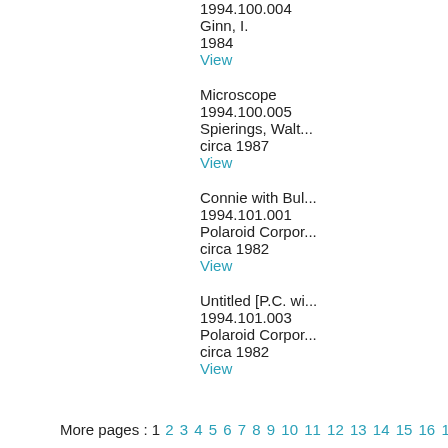1994.100.004
Ginn, I.
1984
View
Microscope
1994.100.005
Spierings, Walt...
circa 1987
View
Connie with Bul...
1994.101.001
Polaroid Corpor...
circa 1982
View
Untitled [P.C. wi...
1994.101.003
Polaroid Corpor...
circa 1982
View
More pages : 1 2 3 4 5 6 7 8 9 10 11 12 13 14 15 16 17 18 19 20 21 22 23...